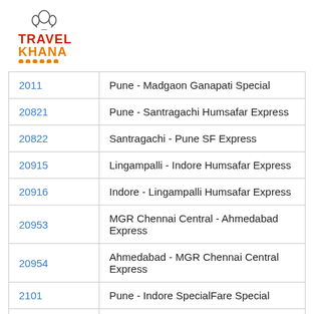[Figure (logo): TravelKhana logo with chef hat icon, red TRAVEL text, orange KHANA text, and orange dots underline]
| 2011 | Pune - Madgaon Ganapati Special |
| 20821 | Pune - Santragachi Humsafar Express |
| 20822 | Santragachi - Pune SF Express |
| 20915 | Lingampalli - Indore Humsafar Express |
| 20916 | Indore - Lingampalli Humsafar Express |
| 20953 | MGR Chennai Central - Ahmedabad Express |
| 20954 | Ahmedabad - MGR Chennai Central Express |
| 2101 | Pune - Indore SpecialFare Special |
| 21143 | Mumbai CSMT - Bidar SF Express (PT) |
| 2135 | Pune - Jammu Tawi AC SF Special |